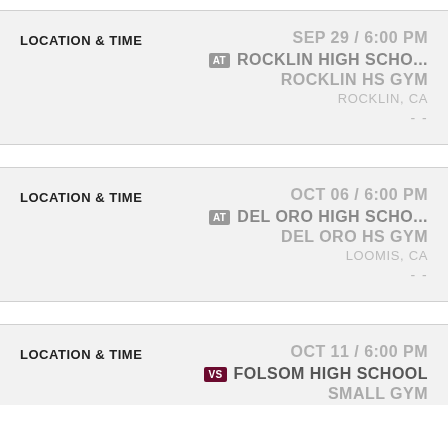| LOCATION & TIME | Details |
| --- | --- |
| LOCATION & TIME | SEP 29 / 6:00 PM | AT ROCKLIN HIGH SCHO... | ROCKLIN HS GYM | ROCKLIN, CA | - - |
| LOCATION & TIME | OCT 06 / 6:00 PM | AT DEL ORO HIGH SCHO... | DEL ORO HS GYM | LOOMIS, CA | - - |
| LOCATION & TIME | OCT 11 / 6:00 PM | VS FOLSOM HIGH SCHOOL | SMALL GYM |